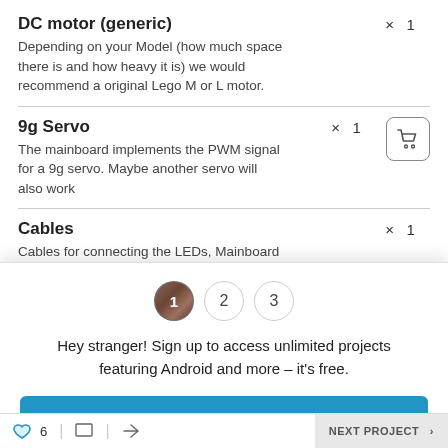DC motor (generic)
Depending on your Model (how much space there is and how heavy it is) we would recommend a original Lego M or L motor.
9g Servo
The mainboard implements the PWM signal for a 9g servo. Maybe another servo will also work
Cables
Cables for connecting the LEDs, Mainboard
Hey stranger! Sign up to access unlimited projects featuring Android and more – it's free.
Sign up
Not now